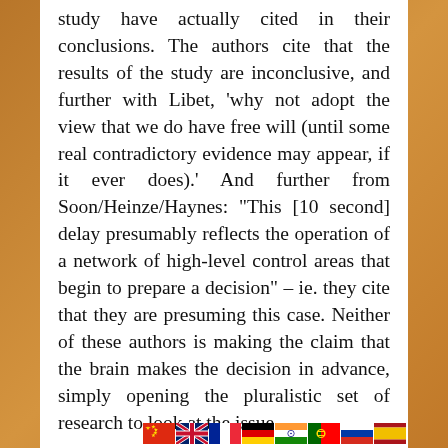study have actually cited in their conclusions. The authors cite that the results of the study are inconclusive, and further with Libet, 'why not adopt the view that we do have free will (until some real contradictory evidence may appear, if it ever does).' And further from Soon/Heinze/Haynes: "This [10 second] delay presumably reflects the operation of a network of high-level control areas that begin to prepare a decision" – ie. they cite that they are presuming this case. Neither of these authors is making the claim that the brain makes the decision in advance, simply opening the pluralistic set of research to look at the issue.